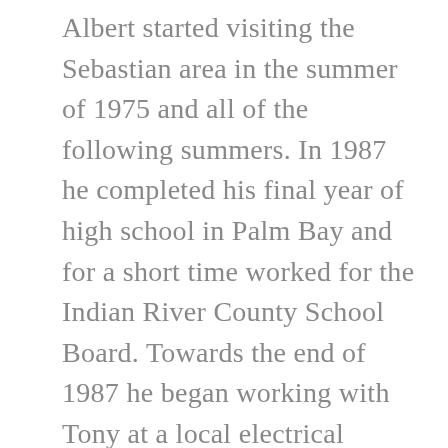Albert started visiting the Sebastian area in the summer of 1975 and all of the following summers. In 1987 he completed his final year of high school in Palm Bay and for a short time worked for the Indian River County School Board. Towards the end of 1987 he began working with Tony at a local electrical contracting business. Albert left the area and returned to Pennsylvania in 1989 only to return in 1991 and once again started working with Tony. During that seventeen year span he earned his Journeyman Electrician's License, attended several training classes